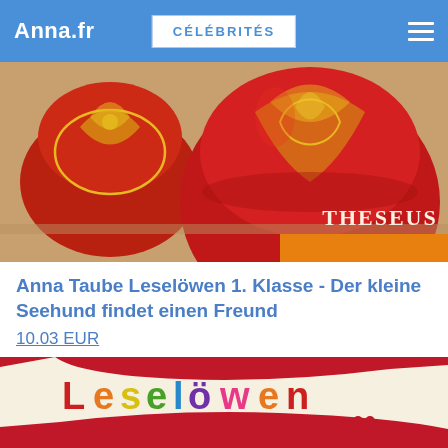Anna.fr | CÉLÉBRITÉS
[Figure (photo): Red decorative candle holders with gold floral patterns on a wooden surface, with 'THESEUS' text and orange accent bar in the bottom right corner.]
Anna Taube Leselöwen 1. Klasse - Der kleine Seehund findet einen Freund
10.03 EUR
[Figure (photo): Book cover for 'Leselöwen 1. Klasse - Der kleine Seehund' with colorful 'Leselöwen' text logo on a cream banner over a red background, with '1. Klasse' text and a paw print, and 'Der kleine Seehund' text at the bottom.]